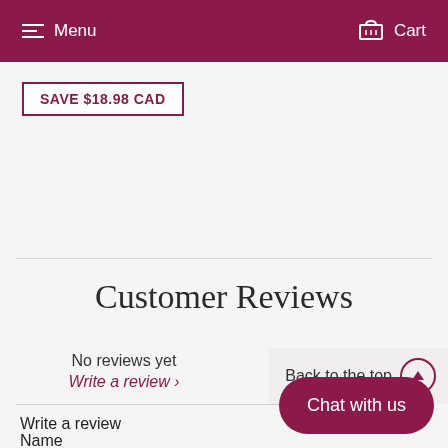Menu  Cart
SAVE $18.98 CAD
Customer Reviews
No reviews yet
Write a review ›
Back to the top
Write a review
Name
Chat with us